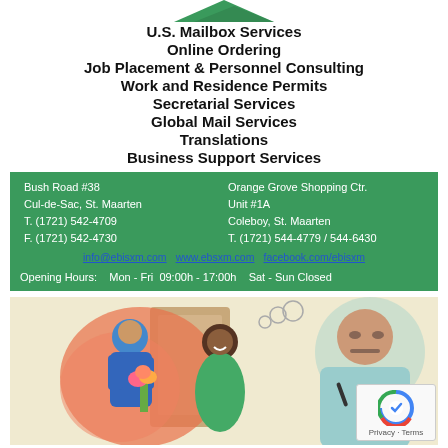[Figure (logo): Green triangular logo shape at top center]
U.S. Mailbox Services
Online Ordering
Job Placement & Personnel Consulting
Work and Residence Permits
Secretarial Services
Global Mail Services
Translations
Business Support Services
Bush Road #38   Orange Grove Shopping Ctr.
Cul-de-Sac, St. Maarten   Unit #1A
T. (1721) 542-4709   Coleboy, St. Maarten
F. (1721) 542-4730   T. (1721) 544-4779 / 544-6430
info@ebisxm.com   www.ebsxm.com   facebook.com/ebisxm
Opening Hours:   Mon - Fri  09:00h - 17:00h   Sat - Sun Closed
[Figure (illustration): Cartoon illustration showing a delivery person, a smiling woman receiving flowers, and a man writing/thinking]